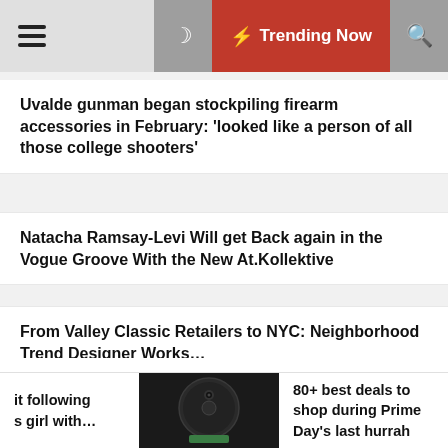☰  ☽  ⚡ Trending Now  🔍
Uvalde gunman began stockpiling firearm accessories in February: 'looked like a person of all those college shooters'
Natacha Ramsay-Levi Will get Back again in the Vogue Groove With the New At.Kollektive
From Valley Classic Retailers to NYC: Neighborhood Trend Designer Works…
Categories
it following s girl with...
[Figure (photo): Circular robot vacuum cleaner device, black, on dark background with green bottom]
80+ best deals to shop during Prime Day's last hurrah